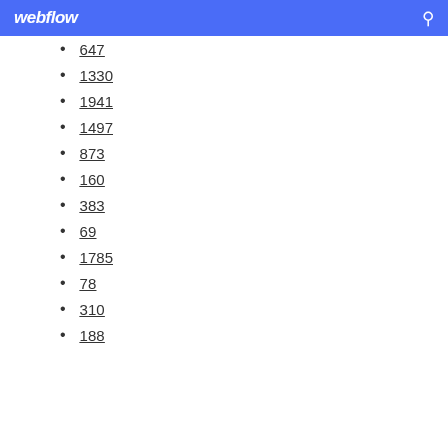webflow
647
1330
1941
1497
873
160
383
69
1785
78
310
188